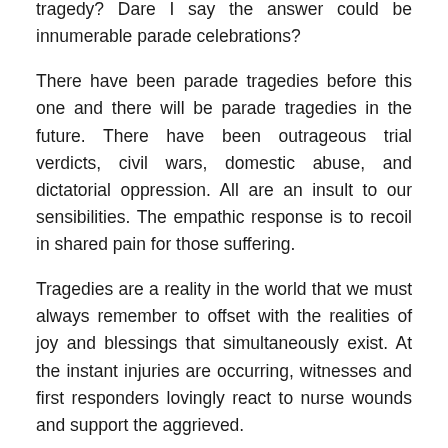tragedy? Dare I say the answer could be innumerable parade celebrations?
There have been parade tragedies before this one and there will be parade tragedies in the future. There have been outrageous trial verdicts, civil wars, domestic abuse, and dictatorial oppression. All are an insult to our sensibilities. The empathic response is to recoil in shared pain for those suffering.
Tragedies are a reality in the world that we must always remember to offset with the realities of joy and blessings that simultaneously exist. At the instant injuries are occurring, witnesses and first responders lovingly react to nurse wounds and support the aggrieved.
There is more peace and love happening in the world at every given moment than can ever receive equal attention